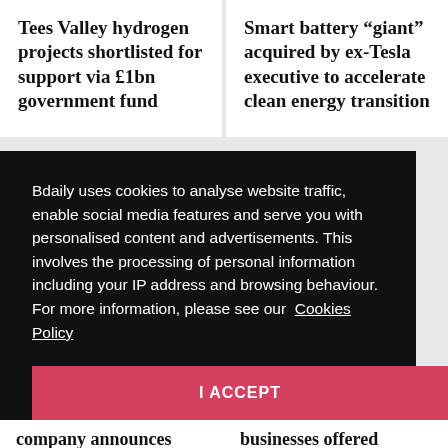Tees Valley hydrogen projects shortlisted for support via £1bn government fund
Smart battery “giant” acquired by ex-Tesla executive to accelerate clean energy transition
Bdaily uses cookies to analyse website traffic, enable social media features and serve you with personalised content and advertisements. This involves the processing of personal information including your IP address and browsing behaviour. For more information, please see our  Cookies Policy
I ACCEPT
company announces
businesses offered